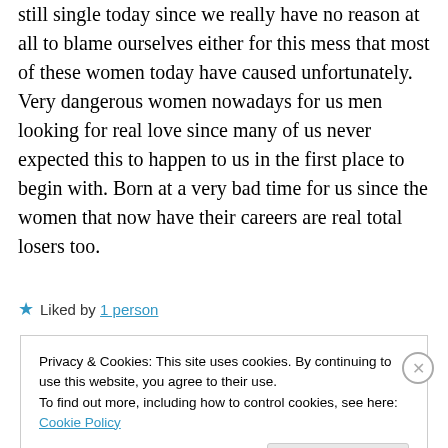still single today since we really have no reason at all to blame ourselves either for this mess that most of these women today have caused unfortunately. Very dangerous women nowadays for us men looking for real love since many of us never expected this to happen to us in the first place to begin with. Born at a very bad time for us since the women that now have their careers are real total losers too.
★ Liked by 1 person
Privacy & Cookies: This site uses cookies. By continuing to use this website, you agree to their use. To find out more, including how to control cookies, see here: Cookie Policy
Close and accept